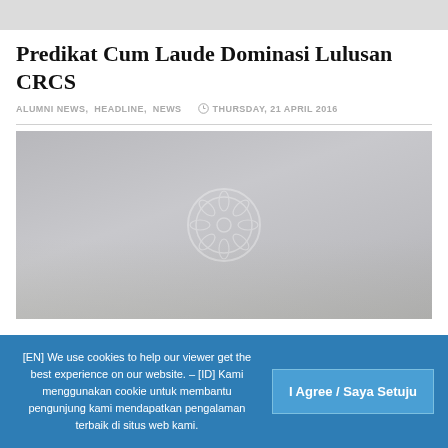Predikat Cum Laude Dominasi Lulusan CRCS
ALUMNI NEWS, HEADLINE, NEWS   THURSDAY, 21 APRIL 2016
[Figure (photo): Group photo of CRCS graduates in academic regalia (caps and gowns) posing outdoors, with a university logo/seal watermark overlay in the center of the image.]
[EN] We use cookies to help our viewer get the best experience on our website. – [ID] Kami menggunakan cookie untuk membantu pengunjung kami mendapatkan pengalaman terbaik di situs web kami.
I Agree / Saya Setuju